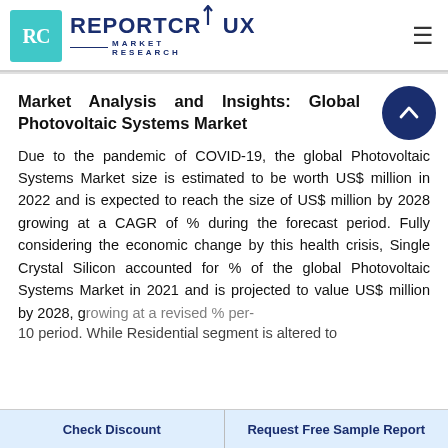RC REPORTCRUX MARKET RESEARCH
Market Analysis and Insights: Global Photovoltaic Systems Market
Due to the pandemic of COVID-19, the global Photovoltaic Systems Market size is estimated to be worth US$ million in 2022 and is expected to reach the size of US$ million by 2028 growing at a CAGR of % during the forecast period. Fully considering the economic change by this health crisis, Single Crystal Silicon accounted for % of the global Photovoltaic Systems Market in 2021 and is projected to value US$ million by 2028, growing at a revised % per-10 period. While Residential segment is altered to
Check Discount | Request Free Sample Report